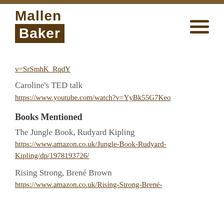[Figure (logo): Mallen Baker logo with brown text on white for 'Mallen' and white text on brown background for 'Baker']
v=SrSmhK_RqdY
Caroline's TED talk
https://www.youtube.com/watch?v=YyBk55G7Keo
Books Mentioned
The Jungle Book, Rudyard Kipling
https://www.amazon.co.uk/Jungle-Book-Rudyard-Kipling/dp/1978193726/
Rising Strong, Brené Brown
https://www.amazon.co.uk/Rising-Strong-Brené-